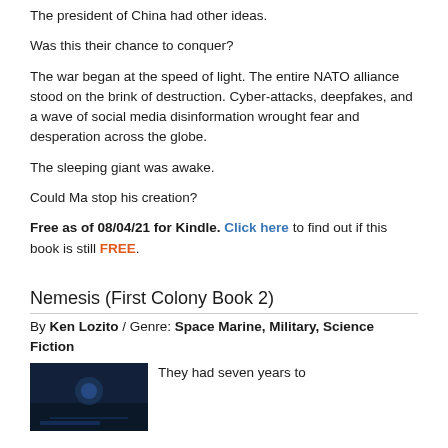The president of China had other ideas.
Was this their chance to conquer?
The war began at the speed of light. The entire NATO alliance stood on the brink of destruction. Cyber-attacks, deepfakes, and a wave of social media disinformation wrought fear and desperation across the globe.
The sleeping giant was awake.
Could Ma stop his creation?
Free as of 08/04/21 for Kindle. Click here to find out if this book is still FREE.
Nemesis (First Colony Book 2)
By Ken Lozito / Genre: Space Marine, Military, Science Fiction
[Figure (photo): Book cover image for Nemesis (First Colony Book 2), dark blue toned sci-fi imagery]
They had seven years to